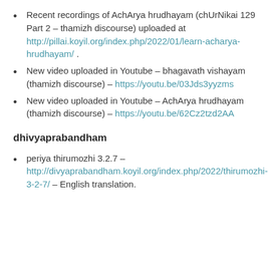Recent recordings of AchArya hrudhayam (chUrNikai 129 Part 2 – thamizh discourse) uploaded at http://pillai.koyil.org/index.php/2022/01/learn-acharya-hrudhayam/ .
New video uploaded in Youtube – bhagavath vishayam (thamizh discourse) – https://youtu.be/03Jds3yyzms
New video uploaded in Youtube – AchArya hrudhayam (thamizh discourse) – https://youtu.be/62Cz2tzd2AA
dhivyaprabandham
periya thirumozhi 3.2.7 – http://divyaprabandham.koyil.org/index.php/2022/thirumozhi-3-2-7/ – English translation.